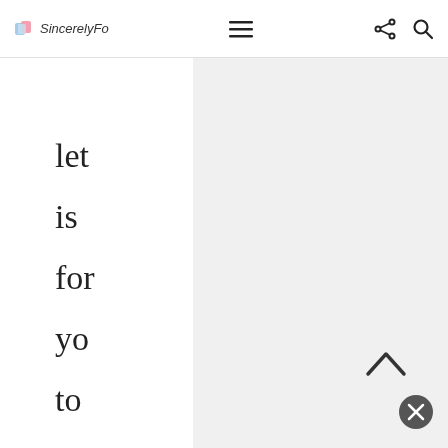Sincerely [logo] — navigation bar with hamburger menu, share, and search icons
let
is
for
yo
to
go
pre
he
the
ov
an
gra
the
ch
Oh
an